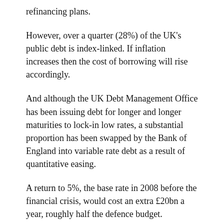refinancing plans.
However, over a quarter (28%) of the UK's public debt is index-linked. If inflation increases then the cost of borrowing will rise accordingly.
And although the UK Debt Management Office has been issuing debt for longer and longer maturities to lock-in low rates, a substantial proportion has been swapped by the Bank of England into variable rate debt as a result of quantitative easing.
A return to 5%, the base rate in 2008 before the financial crisis, would cost an extra £20bn a year, roughly half the defence budget.
This poses a dilemma to the Bank of England. Unwind QE too quickly and interest rates could rise significantly. But don't unwind QE and the public